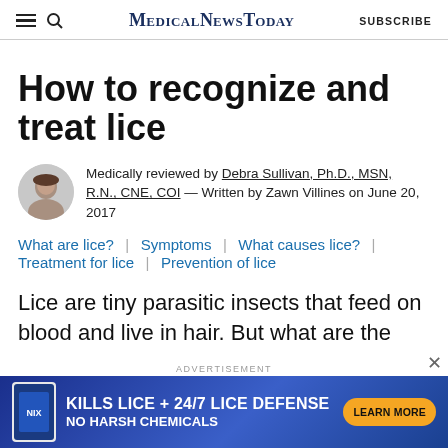MedicalNewsToday | SUBSCRIBE
How to recognize and treat lice
Medically reviewed by Debra Sullivan, Ph.D., MSN, R.N., CNE, COI — Written by Zawn Villines on June 20, 2017
What are lice?
Symptoms
What causes lice?
Treatment for lice
Prevention of lice
Lice are tiny parasitic insects that feed on blood and live in hair. But what are the
[Figure (infographic): Advertisement banner: KILLS LICE + 24/7 LICE DEFENSE NO HARSH CHEMICALS with LEARN MORE button]